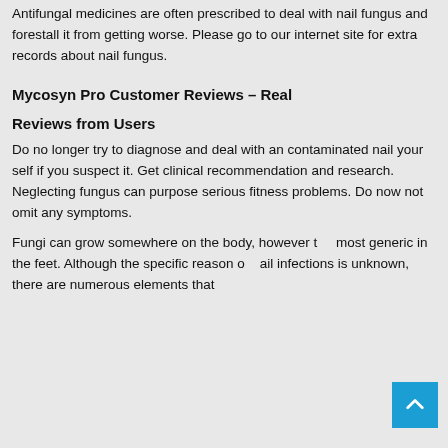Antifungal medicines are often prescribed to deal with nail fungus and forestall it from getting worse. Please go to our internet site for extra records about nail fungus.
Mycosyn Pro Customer Reviews – Real
Reviews from Users
Do no longer try to diagnose and deal with an contaminated nail your self if you suspect it. Get clinical recommendation and research. Neglecting fungus can purpose serious fitness problems. Do now not omit any symptoms.
Fungi can grow somewhere on the body, however the most generic in the feet. Although the specific reason of nail infections is unknown, there are numerous elements that